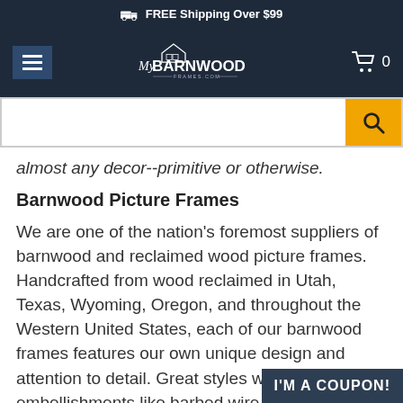FREE Shipping Over $99
[Figure (logo): MyBarnwood Frames website header with hamburger menu, logo, and cart icon]
[Figure (screenshot): Search bar with orange search button]
almost any decor--primitive or otherwise.
Barnwood Picture Frames
We are one of the nation's foremost suppliers of barnwood and reclaimed wood picture frames. Handcrafted from wood reclaimed in Utah, Texas, Wyoming, Oregon, and throughout the Western United States, each of our barnwood frames features our own unique design and attention to detail. Great styles with embellishments like barbed wire, tacks, and stained wood insets. You'll also find reclaimed wood frames in several popular colors including whitewash, red, and